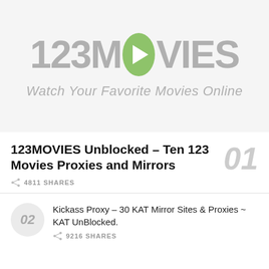[Figure (logo): 123MOVIES logo with green oval play button replacing the letter O, tagline: Watch Your Favorite Movies Online]
123MOVIES Unblocked – Ten 123 Movies Proxies and Mirrors
4811 SHARES
01
Kickass Proxy – 30 KAT Mirror Sites & Proxies ~ KAT UnBlocked.
9216 SHARES
02